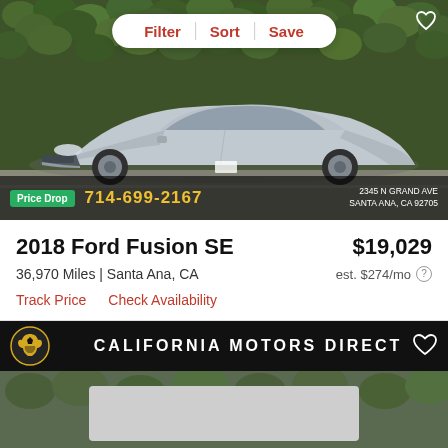[Figure (photo): Silver 2018 Ford Fusion SE photographed in a parking lot with green ivy/foliage wall in background. Overlay toolbar with Filter, Sort, Save buttons. Price Drop badge and phone number 714-699-2167 at bottom. Address 2345 N Grand Ave, Santa Ana CA 92705.]
2018 Ford Fusion SE
$19,029
36,970 Miles | Santa Ana, CA
est. $274/mo
Track Price   Check Availability
[Figure (logo): California Motors Direct dealer banner with yellow griffin logo on black background]
[Figure (photo): Partial second car listing preview, mostly gray/obscured]